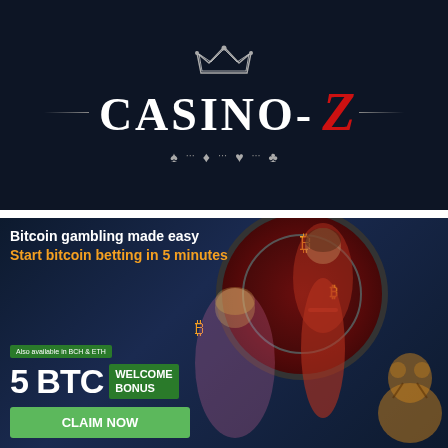[Figure (logo): Casino-Z logo on dark navy background. White serif text reads CASINO- with a red italic Z. A crown icon sits above. Decorative horizontal lines flank the text. Suit symbols (spade, diamond, heart, club) appear below.]
[Figure (infographic): Bitcoin casino advertisement banner on dark blue background. Text: 'Bitcoin gambling made easy' in white bold, 'Start bitcoin betting in 5 minutes' in orange bold. Shows '5 BTC WELCOME BONUS' with green box and 'CLAIM NOW' green button. Also shows 'Also available in BCH & ETH'. Background features roulette wheel, woman in red dress, blonde character, tiger.]